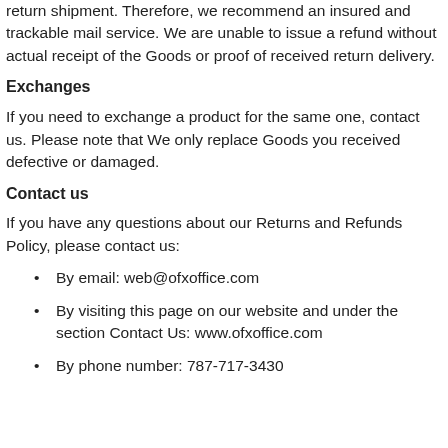return shipment. Therefore, we recommend an insured and trackable mail service. We are unable to issue a refund without actual receipt of the Goods or proof of received return delivery.
Exchanges
If you need to exchange a product for the same one, contact us. Please note that We only replace Goods you received defective or damaged.
Contact us
If you have any questions about our Returns and Refunds Policy, please contact us:
By email: web@ofxoffice.com
By visiting this page on our website and under the section Contact Us: www.ofxoffice.com
By phone number: 787-717-3430